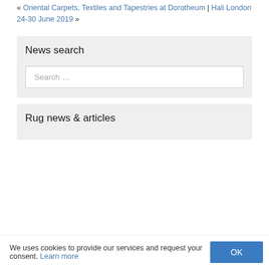« Oriental Carpets, Textiles and Tapestries at Dorotheum | Hali London 24-30 June 2019 »
News search
Search …
Rug news & articles
We uses cookies to provide our services and request your consent. Learn more OK